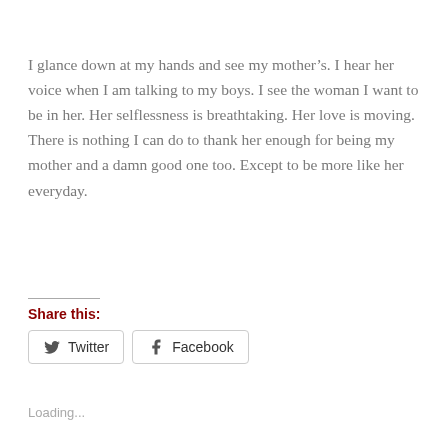I glance down at my hands and see my mother’s. I hear her voice when I am talking to my boys. I see the woman I want to be in her. Her selflessness is breathtaking. Her love is moving. There is nothing I can do to thank her enough for being my mother and a damn good one too. Except to be more like her everyday.
Share this:
Twitter
Facebook
Loading...